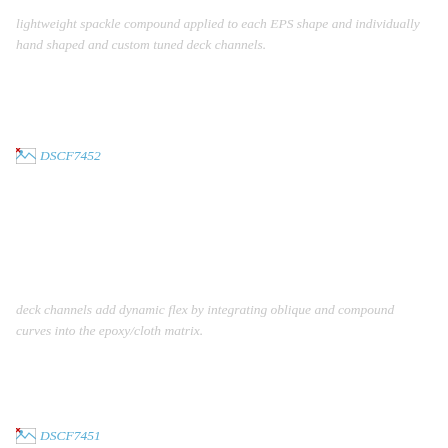lightweight spackle compound applied to each EPS shape and individually hand shaped and custom tuned deck channels.
[Figure (photo): Broken image placeholder labeled DSCF7452]
deck channels add dynamic flex by integrating oblique and compound curves into the epoxy/cloth matrix.
[Figure (photo): Broken image placeholder labeled DSCF7451]